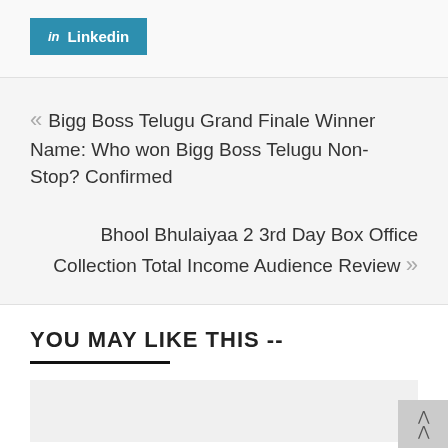[Figure (logo): LinkedIn share button with 'in' icon and 'Linkedin' text on teal/blue background]
« Bigg Boss Telugu Grand Finale Winner Name: Who won Bigg Boss Telugu Non-Stop? Confirmed
Bhool Bhulaiyaa 2 3rd Day Box Office Collection Total Income Audience Review »
YOU MAY LIKE THIS --
[Figure (other): Empty content area placeholder for 'You May Like This' section]